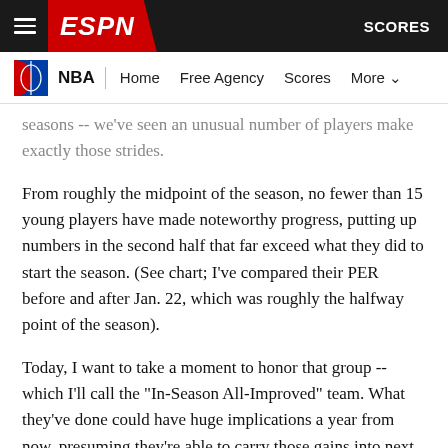ESPN - NBA
seasons -- we've seen an unusual number of players make exactly those strides.
From roughly the midpoint of the season, no fewer than 15 young players have made noteworthy progress, putting up numbers in the second half that far exceed what they did to start the season. (See chart; I've compared their PER before and after Jan. 22, which was roughly the halfway point of the season).
Today, I want to take a moment to honor that group -- which I'll call the "In-Season All-Improved" team. What they've done could have huge implications a year from now, presuming they're able to carry those gains into next season.
In addition, I want to also credit those bold